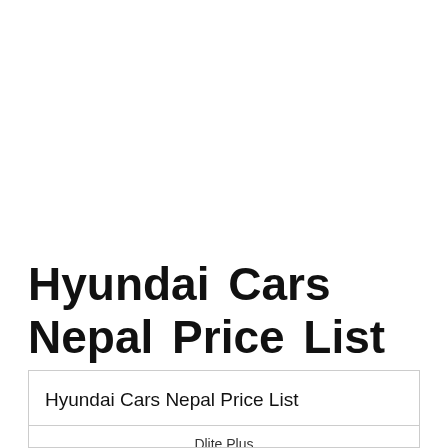Hyundai Cars Nepal Price List
|  |  | Dlite Plus |  |  |
| --- | --- | --- | --- | --- |
| Hyundai Cars Nepal Price List |  |  |  |  |